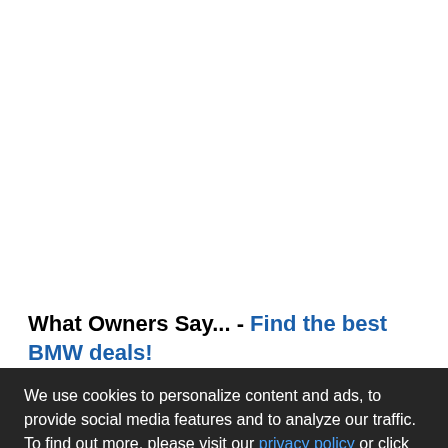What Owners Say... - Find the best BMW deals!
We use cookies to personalize content and ads, to provide social media features and to analyze our traffic. To find out more, please visit our privacy policy or click "Customize Settings".
Customize Settings
✓ Accept Cookies